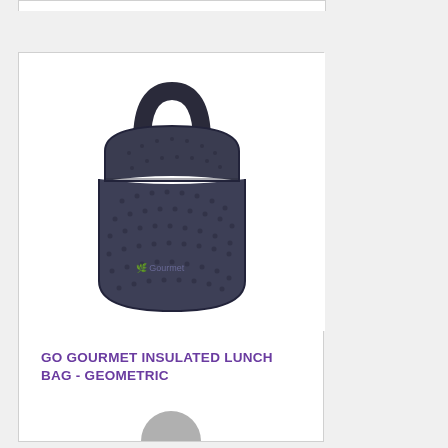[Figure (photo): A dark navy/charcoal insulated neoprene lunch bag with a geometric dot pattern, a rounded top handle, and a 'Go Gourmet' logo on the front]
GO GOURMET INSULATED LUNCH BAG - GEOMETRIC